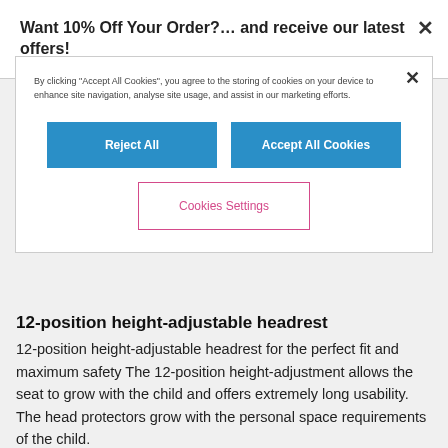Want 10% Off Your Order?… and receive our latest offers!
By clicking "Accept All Cookies", you agree to the storing of cookies on your device to enhance site navigation, analyse site usage, and assist in our marketing efforts.
Reject All
Accept All Cookies
Cookies Settings
12-position height-adjustable headrest
12-position height-adjustable headrest for the perfect fit and maximum safety The 12-position height-adjustment allows the seat to grow with the child and offers extremely long usability. The head protectors grow with the personal space requirements of the child.
ISOFIX Connect
ISOFIX Connect System offers enhanced safety and stability and easy one-click installation. The seat's connectors simply snap into the vehicle's ISOFIX